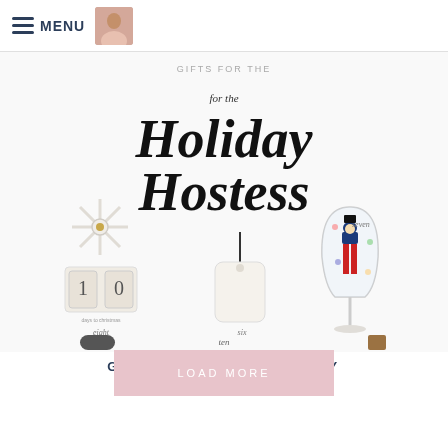MENU
[Figure (illustration): Collage image showing holiday hostess gifts including a wooden Christmas countdown block with snowflake decoration labeled 'eight', a chalk tag ornament labeled 'six', and a nutcracker-painted wine glass labeled 'seven', with script text 'for the Holiday Hostess' at top]
GIFTS FOR THE HOLIDAY HOSTESS
LOAD MORE